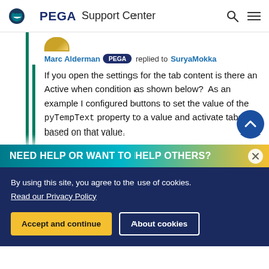PEGA Support Center
Marc Alderman PEGA replied to SuryaMokka
If you open the settings for the tab content is there an Active when condition as shown below?  As an example I configured buttons to set the value of the pyTempText property to a value and activate tabs based on that value.
NEED HELP OR WANT TO HELP OTHERS?
By using this site, you agree to the use of cookies.
Read our Privacy Policy
Accept and continue   About cookies